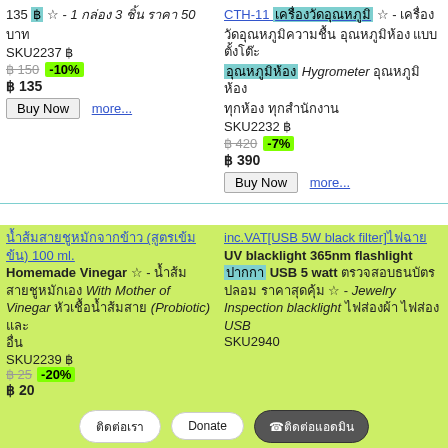135 ฿ ☆ - 1 กล่อง 3 ชิ้น ราคา 50 บาท SKU2237 ฿150 -10% ฿ 135
CTH-11 เครื่องวัดอุณหภูมิ ☆ - เครื่องวัดอุณหภูมิ ความชื้น อุณหภูมิห้อง แบบตั้งโต๊ะ Hygrometer อุณหภูมิห้อง ทุกห้อง ทุกสำนักงาน SKU2232 ฿420 -7% ฿ 390
น้ำส้มสายชูหมักจากข้าว (สูตรเข้มข้น) 100 ml. Homemade Vinegar ☆ - น้ำส้มสายชูหมักเอง With Mother of Vinegar หัวเชื้อน้ำส้มสาย (Probiotic) และอื่น SKU2239 ฿25 -20% ฿ 20
inc.VAT[USB 5W black filter]ไฟฉาย UV blacklight 365nm flashlight ปากกา USB 5 watt ตรวจสอบธนบัตร ปลอม ราคาสุดคุ้ม ☆ - Jewelry Inspection blacklight ไฟส่องผ้า ไฟส่อง USB SKU2940
ติดต่อเรา  Donate  ☎ติดต่อแอดมิน